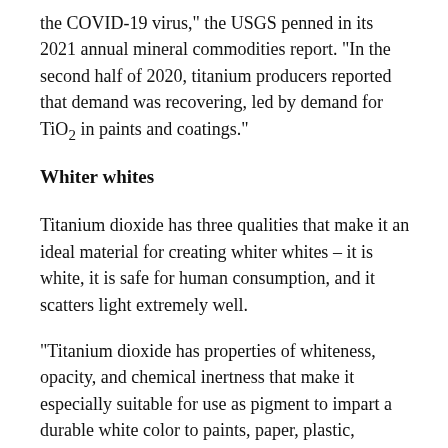the COVID-19 virus," the USGS penned in its 2021 annual mineral commodities report. "In the second half of 2020, titanium producers reported that demand was recovering, led by demand for TiO2 in paints and coatings."
Whiter whites
Titanium dioxide has three qualities that make it an ideal material for creating whiter whites – it is white, it is safe for human consumption, and it scatters light extremely well.
"Titanium dioxide has properties of whiteness, opacity, and chemical inertness that make it especially suitable for use as pigment to impart a durable white color to paints, paper, plastic, sunscreen, toothpaste, and wallboard," the USGS inked in its 2018 titanium report.